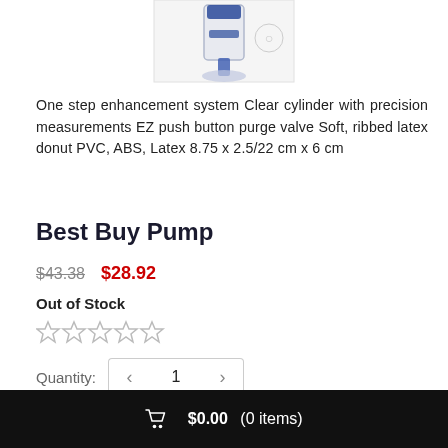[Figure (photo): Product image of a pump device (partial view, top portion cut off), showing a clear cylinder pump with blue components on a white background.]
One step enhancement system Clear cylinder with precision measurements EZ push button purge valve Soft, ribbed latex donut PVC, ABS, Latex 8.75 x 2.5/22 cm x 6 cm
Best Buy Pump
$43.38  $28.92
Out of Stock
[Figure (other): Five empty star rating icons (no stars filled)]
Quantity:  1
ADD TO CART
$0.00 (0 items)